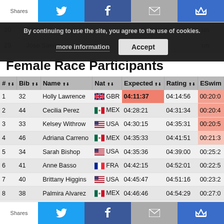Shares | Twitter | Facebook | Email | Crown
By continuing to use the site, you agree to the use of cookies. more information | Accept
| # | Bib | Name | Nat | Expected | Rating | ESwim |
| --- | --- | --- | --- | --- | --- | --- |
| 20 | Ricardo Lemus |  |  | untrated | un |
| 29 | Jose Saenz |  |  | untrated. | un |
Female Race Participants
| # | Bib | Name | Nat | Expected | Rating | ESwim |
| --- | --- | --- | --- | --- | --- | --- |
| 1 | 32 | Holly Lawrence | GBR | 04:11:37 | 04:14:56 | 00:20:0 |
| 2 | 44 | Cecilia Perez | MEX | 04:28:21 | 04:31:34 | 00:20:4 |
| 3 | 33 | Kelsey Withrow | USA | 04:30:15 | 04:35:31 | 00:20:5 |
| 4 | 46 | Adriana Carreno | MEX | 04:35:33 | 04:41:51 | 00:21:3 |
| 5 | 34 | Sarah Bishop | USA | 04:35:36 | 04:39:00 | 00:25:2 |
| 6 | 41 | Anne Basso | FRA | 04:42:15 | 04:52:01 | 00:22:5 |
| 7 | 40 | Brittany Higgins | USA | 04:45:47 | 04:51:16 | 00:23:2 |
| 8 | 38 | Palmira Alvarez | MEX | 04:46:46 | 04:54:29 | 00:27:0 |
| 9 | 37 | Kimberly Goodell | USA | 04:48:17 | 04:52:08 | 00:24:5 |
Shares | Twitter | Facebook | Email | Crown